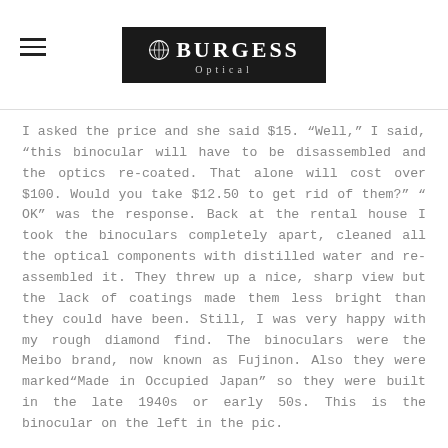Burgess Optical
I asked the price and she said $15. “Well,” I said, “this binocular will have to be disassembled and the optics re-coated. That alone will cost over $100. Would you take $12.50 to get rid of them?” “ OK” was the response. Back at the rental house I took the binoculars completely apart, cleaned all the optical components with distilled water and re-assembled it. They threw up a nice, sharp view but the lack of coatings made them less bright than they could have been. Still, I was very happy with my rough diamond find. The binoculars were the Meibo brand, now known as Fujinon. Also they were marked“Made in Occupied Japan” so they were built in the late 1940s or early 50s. This is the binocular on the left in the pic.
The binocular on the right is also old but only half